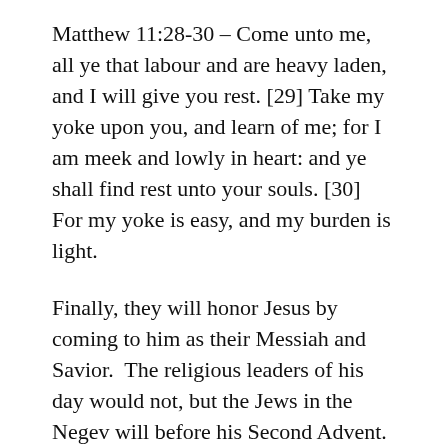Matthew 11:28-30 – Come unto me, all ye that labour and are heavy laden, and I will give you rest. [29] Take my yoke upon you, and learn of me; for I am meek and lowly in heart: and ye shall find rest unto your souls. [30] For my yoke is easy, and my burden is light.
Finally, they will honor Jesus by coming to him as their Messiah and Savior. The religious leaders of his day would not, but the Jews in the Negev will before his Second Advent. Jesus spoke the following words to the religious leaders who would not honor him as the Son of the living God, who their God, his Father, had sent to save them from their sins, and to being in the kingdom.